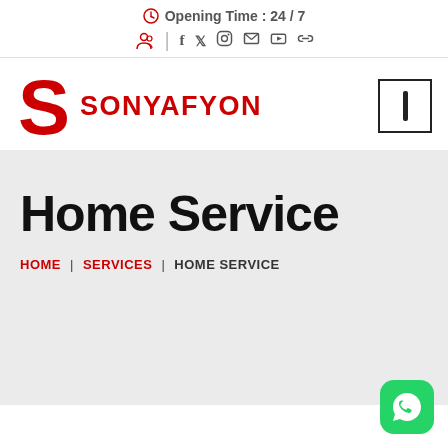Opening Time : 24 / 7
[Figure (logo): SONYAFYON brand logo with red S letter and red bold text SONYAFYON]
Home Service
HOME | SERVICES | HOME SERVICE